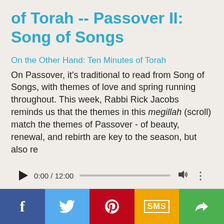of Torah -- Passover II: Song of Songs
On the Other Hand: Ten Minutes of Torah
On Passover, it's traditional to read from Song of Songs, with themes of love and spring running throughout. This week, Rabbi Rick Jacobs reminds us that the themes in this megillah (scroll) match the themes of Passover - of beauty, renewal, and rebirth are key to the season, but also re
[Figure (other): Audio player showing 0:00 / 12:00 with play button, progress bar, volume and more options icons]